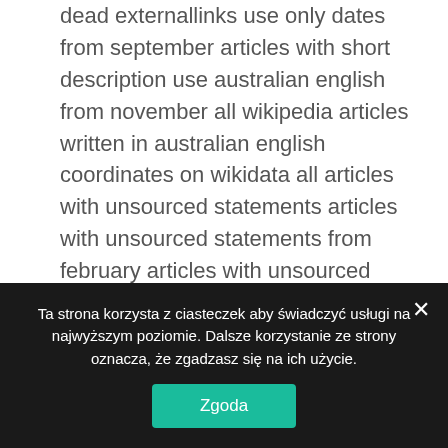dead externallinks use only dates from september articles with short description use australian english from november all wikipedia articles written in australian english coordinates on wikidata all articles with unsourced statements articles with unsourced statements from february articles with unsourced statements from september articles with unsourced statements from february all articles with specifically marked weasel-worded phrases articles with specifically marked weasel-worded phrases from february. The betting itself is pretty simple but the decision on how to move the horses is pretty interesting. There is water
Ta strona korzysta z ciasteczek aby świadczyć usługi na najwyższym poziomie. Dalsze korzystanie ze strony oznacza, że zgadzasz się na ich użycie.
Zgoda